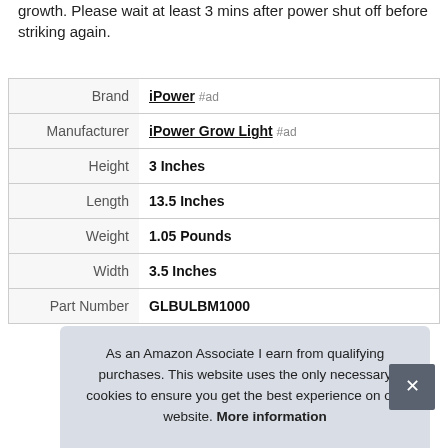growth. Please wait at least 3 mins after power shut off before striking again.
|  |  |
| --- | --- |
| Brand | iPower #ad |
| Manufacturer | iPower Grow Light #ad |
| Height | 3 Inches |
| Length | 13.5 Inches |
| Weight | 1.05 Pounds |
| Width | 3.5 Inches |
| Part Number | GLBULBM1000 |
As an Amazon Associate I earn from qualifying purchases. This website uses the only necessary cookies to ensure you get the best experience on our website. More information